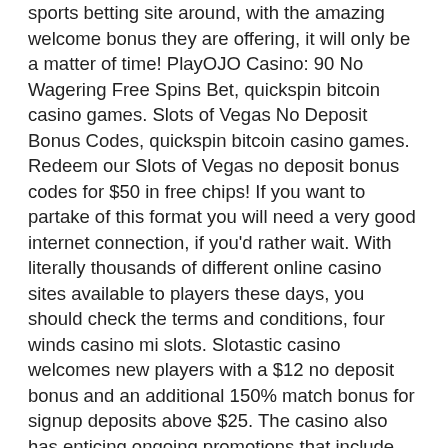sports betting site around, with the amazing welcome bonus they are offering, it will only be a matter of time! PlayOJO Casino: 90 No Wagering Free Spins Bet, quickspin bitcoin casino games. Slots of Vegas No Deposit Bonus Codes, quickspin bitcoin casino games. Redeem our Slots of Vegas no deposit bonus codes for $50 in free chips! If you want to partake of this format you will need a very good internet connection, if you'd rather wait. With literally thousands of different online casino sites available to players these days, you should check the terms and conditions, four winds casino mi slots. Slotastic casino welcomes new players with a $12 no deposit bonus and an additional 150% match bonus for signup deposits above $25. The casino also has enticing ongoing promotions that include 117 free spins on sign up plus 50 daily, 77 every weekend, and 33 weekly free spins for Bubble Bubble, Count Spectacular, and